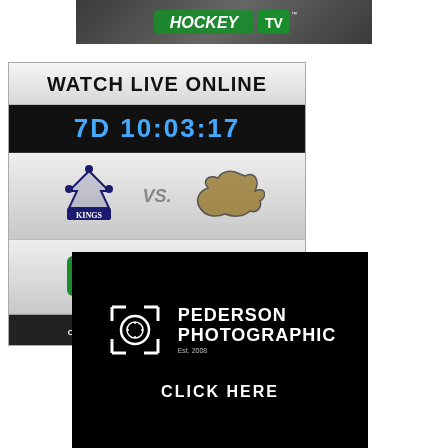[Figure (logo): HockeyTV logo banner at top of page — green Hockey TV logo on dark gray rink background]
[Figure (infographic): HockeyTV Watch Live Online widget showing countdown timer '7D 10:03:17', Kings vs Broncos logos, HockeyTV logo, and 'CLICK TO WATCH: WWW.HOCKEYTV.COM' footer]
[Figure (logo): Pederson Photographic advertisement — white camera bracket logo and text 'PEDERSON PHOTOGRAPHIC Est. 2008' on black background with 'CLICK HERE' at bottom]